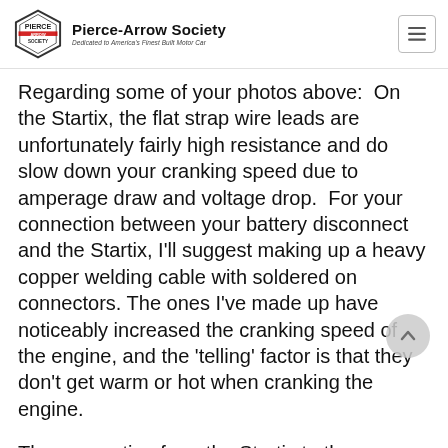Pierce-Arrow Society — Dedicated to America's Finest Built Motor Car
Regarding some of your photos above:  On the Startix, the flat strap wire leads are unfortunately fairly high resistance and do slow down your cranking speed due to amperage draw and voltage drop.  For your connection between your battery disconnect and the Startix, I'll suggest making up a heavy copper welding cable with soldered on connectors. The ones I've made up have noticeably increased the cranking speed of the engine, and the 'telling' factor is that they don't get warm or hot when cranking the engine.
The connection from the Startix to the